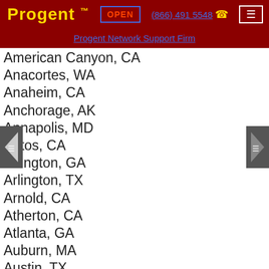Progent™ OPEN (866) 491 5548
Progent Network Support Firm
American Canyon, CA
Anacortes, WA
Anaheim, CA
Anchorage, AK
Annapolis, MD
Aptos, CA
Arlington, GA
Arlington, TX
Arnold, CA
Atherton, CA
Atlanta, GA
Auburn, MA
Austin, TX
Baltimore, MD
Bayswater, WA